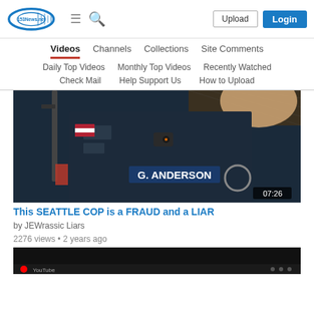153News.net | Upload | Login
Videos | Channels | Collections | Site Comments
Daily Top Videos | Monthly Top Videos | Recently Watched
Check Mail | Help Support Us | How to Upload
[Figure (photo): Video thumbnail showing a police officer torso with name tag G. ANDERSON, wearing tactical gear with a body camera. Duration badge shows 07:26.]
This SEATTLE COP is a FRAUD and a LIAR
by JEWrassic Liars
2276 views • 2 years ago
[Figure (screenshot): Bottom of another video thumbnail, partially visible, showing a dark screen with YouTube player controls.]